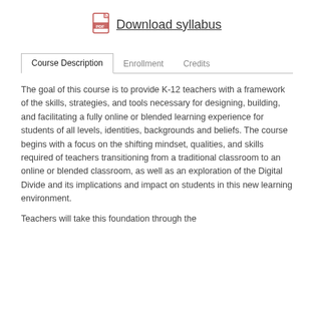[Figure (other): PDF icon with download syllabus link]
Course Description | Enrollment | Credits (tab navigation)
The goal of this course is to provide K-12 teachers with a framework of the skills, strategies, and tools necessary for designing, building, and facilitating a fully online or blended learning experience for students of all levels, identities, backgrounds and beliefs. The course begins with a focus on the shifting mindset, qualities, and skills required of teachers transitioning from a traditional classroom to an online or blended classroom, as well as an exploration of the Digital Divide and its implications and impact on students in this new learning environment.
Teachers will take this foundation through the